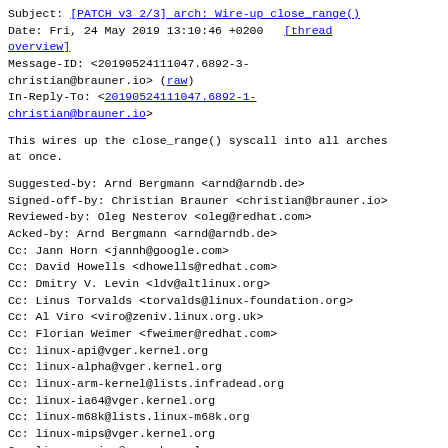Subject: [PATCH v3 2/3] arch: Wire-up close_range()
Date: Fri, 24 May 2019 13:10:46 +0200  [thread overview]
Message-ID: <20190524111047.6892-3-christian@brauner.io> (raw)
In-Reply-To: <20190524111047.6892-1-christian@brauner.io>
This wires up the close_range() syscall into all arches at once.
Suggested-by: Arnd Bergmann <arnd@arndb.de>
Signed-off-by: Christian Brauner <christian@brauner.io>
Reviewed-by: Oleg Nesterov <oleg@redhat.com>
Acked-by: Arnd Bergmann <arnd@arndb.de>
Cc: Jann Horn <jannh@google.com>
Cc: David Howells <dhowells@redhat.com>
Cc: Dmitry V. Levin <ldv@altlinux.org>
Cc: Linus Torvalds <torvalds@linux-foundation.org>
Cc: Al Viro <viro@zeniv.linux.org.uk>
Cc: Florian Weimer <fweimer@redhat.com>
Cc: linux-api@vger.kernel.org
Cc: linux-alpha@vger.kernel.org
Cc: linux-arm-kernel@lists.infradead.org
Cc: linux-ia64@vger.kernel.org
Cc: linux-m68k@lists.linux-m68k.org
Cc: linux-mips@vger.kernel.org
Cc: linux-parisc@vger.kernel.org
Cc: linuxppc-dev@lists.ozlabs.org
Cc: linux-s390@vger.kernel.org
Cc: linux-sh@vger.kernel.org